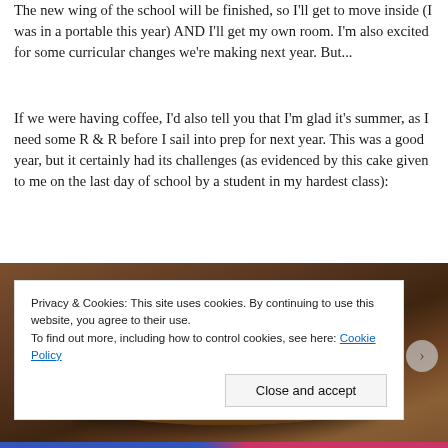The new wing of the school will be finished, so I'll get to move inside (I was in a portable this year) AND I'll get my own room. I'm also excited for some curricular changes we're making next year. But...
If we were having coffee, I'd also tell you that I'm glad it's summer, as I need some R & R before I sail into prep for next year. This was a good year, but it certainly had its challenges (as evidenced by this cake given to me on the last day of school by a student in my hardest class):
[Figure (photo): A photograph of what appears to be a dark brown cake or dish on a plate, shown in dim warm lighting against a dark background.]
Privacy & Cookies: This site uses cookies. By continuing to use this website, you agree to their use. To find out more, including how to control cookies, see here: Cookie Policy
Close and accept